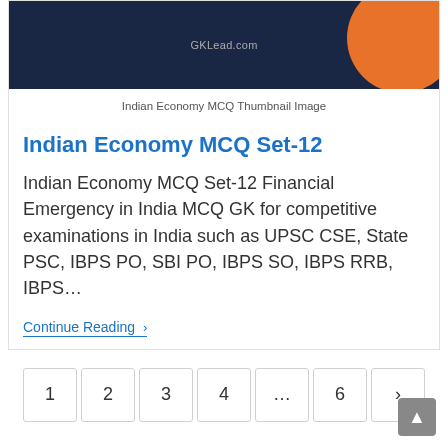[Figure (screenshot): GKLead.com website thumbnail with dark navy background and orange circle accent]
Indian Economy MCQ Thumbnail Image
Indian Economy MCQ Set-12
Indian Economy MCQ Set-12 Financial Emergency in India MCQ GK for competitive examinations in India such as UPSC CSE, State PSC, IBPS PO, SBI PO, IBPS SO, IBPS RRB, IBPS…
Continue Reading ›
1
2
3
4
...
6
›